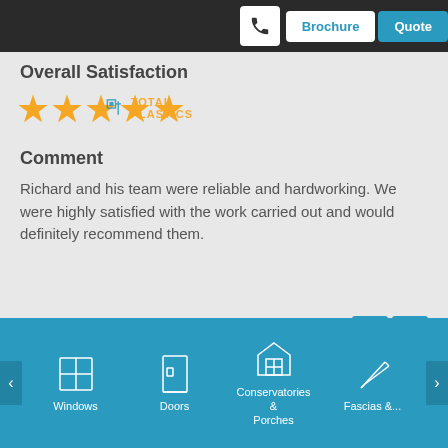Brochure | Quote
Overall Satisfaction
[Figure (other): 5 gold star rating icons with Total Plastics watermark logo overlay]
Comment
Richard and his team were reliable and hardworking. We were highly satisfied with the work carried out and would definitely recommend them.
Marie Old
4th April 2019
Overall Satisfaction
[Figure (other): 5 gold star rating icons]
Windows | Doors | Conservatories & Porches | Fascias &...